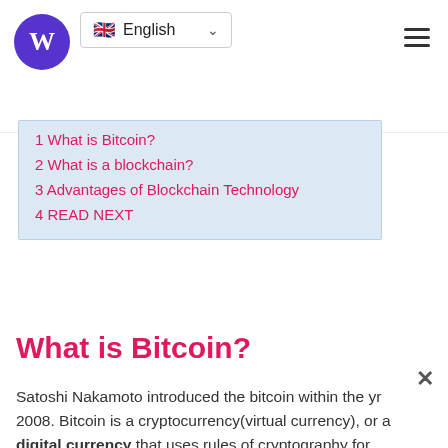English — W logo, hamburger menu
1 What is Bitcoin?
2 What is a blockchain?
3 Advantages of Blockchain Technology
4 READ NEXT
What is Bitcoin?
Satoshi Nakamoto introduced the bitcoin within the yr 2008. Bitcoin is a cryptocurrency(virtual currency), or a digital currency that uses rules of cryptography for regulation and generation of unites of currency. A Bitcoin fell under the scope of cryptocurrency.